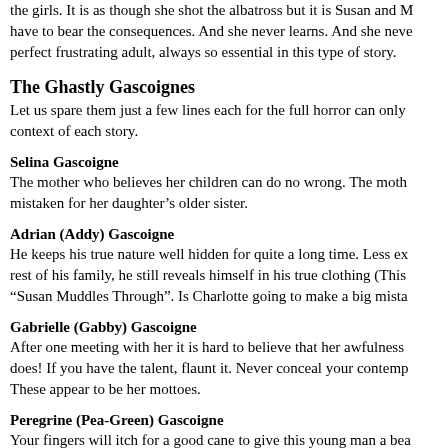the girls. It is as though she shot the albatross but it is Susan and M have to bear the consequences. And she never learns. And she neve perfect frustrating adult, always so essential in this type of story.
The Ghastly Gascoignes
Let us spare them just a few lines each for the full horror can only context of each story.
Selina Gascoigne
The mother who believes her children can do no wrong. The moth mistaken for her daughter's older sister.
Adrian (Addy) Gascoigne
He keeps his true nature well hidden for quite a long time. Less ex rest of his family, he still reveals himself in his true clothing (This “Susan Muddles Through”. Is Charlotte going to make a big mista
Gabrielle (Gabby) Gascoigne
After one meeting with her it is hard to believe that her awfulness does! If you have the talent, flaunt it. Never conceal your contemp These appear to be her mottoes.
Peregrine (Pea-Green) Gascoigne
Your fingers will itch for a good cane to give this young man a bea darling can do no wrong. You must never try to restrain the creativ the damage you could do.